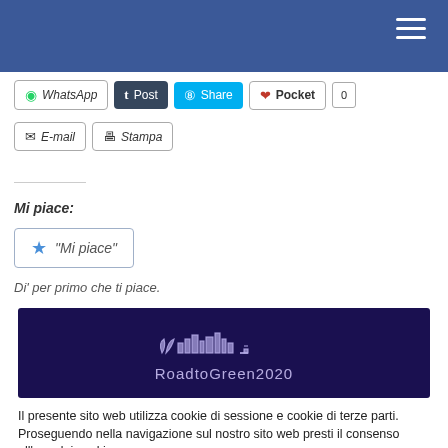[Figure (screenshot): Social sharing buttons row: WhatsApp, Post (Tumblr), Share (Skype), Pocket with count 0]
[Figure (screenshot): Social sharing buttons row 2: E-mail, Stampa]
Mi piace:
[Figure (screenshot): Like / 'Mi piace' button with blue star icon]
Di' per primo che ti piace.
[Figure (logo): RoadtoGreen2020 logo on dark purple banner]
Il presente sito web utilizza cookie di sessione e cookie di terze parti. Proseguendo nella navigazione sul nostro sito web presti il consenso all'uso dei cookie.
[Figure (screenshot): Cookie Settings and Accetta tutto buttons]
[Figure (screenshot): Translate >> button in orange]